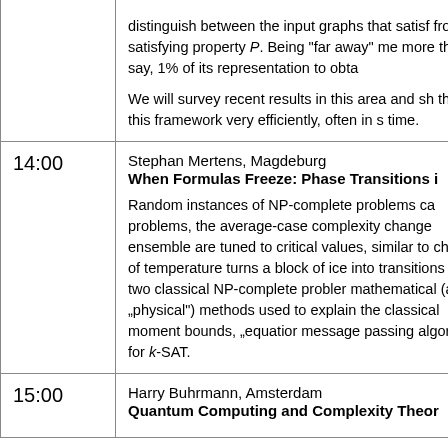| Time | Event |
| --- | --- |
|  | distinguish between the input graphs that satisf from satisfying property P. Being "far away" me more than, say, 1% of its representation to obta

We will survey recent results in this area and sh them in this framework very efficiently, often in s time. |
| 14:00 | Stephan Mertens, Magdeburg
When Formulas Freeze: Phase Transitions i

Random instances of NP-complete problems ca problems, the average-case complexity change ensemble are tuned to critical values, similar to change of temperature turns a block of ice into transitions in two classical NP-complete probler mathematical (and „physical") methods used to explain the classical moment bounds, „equatior message passing algorithms for k-SAT. |
| 15:00 | Harry Buhrmann, Amsterdam
Quantum Computing and Complexity Theor |